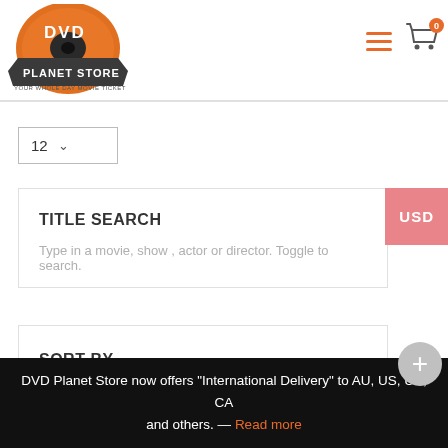[Figure (logo): DVD Planet Store logo — orange disc with DVD text and Planet Store banner, tagline YOUR WHOLE DAY MOVIE TICKET]
[Figure (other): Hamburger menu icon (three orange horizontal lines) and shopping cart icon with orange badge showing 0]
[Figure (other): Dropdown selector showing 12 with chevron]
TITLE SEARCH
Type in a movie, show , actor or director. Toggle to search.
SORT BY
GENRE
USD
DVD Planet Store now offers "International Delivery" to AU, US, UK, CA and others. — Read more